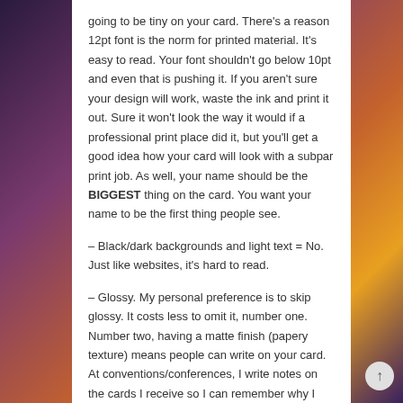going to be tiny on your card. There's a reason 12pt font is the norm for printed material. It's easy to read. Your font shouldn't go below 10pt and even that is pushing it. If you aren't sure your design will work, waste the ink and print it out. Sure it won't look the way it would if a professional print place did it, but you'll get a good idea how your card will look with a subpar print job. As well, your name should be the BIGGEST thing on the card. You want your name to be the first thing people see.
– Black/dark backgrounds and light text = No. Just like websites, it's hard to read.
– Glossy. My personal preference is to skip glossy. It costs less to omit it, number one. Number two, having a matte finish (papery texture) means people can write on your card. At conventions/conferences, I write notes on the cards I receive so I can remember why I have the card when I get home. Short stuff like "check vampire book" or "contact about agent" and